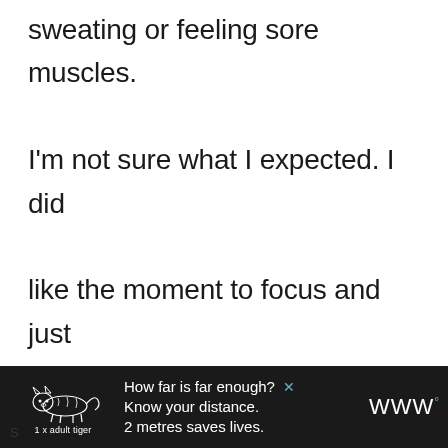sweating or feeling sore muscles. I'm not sure what I expected. I did like the moment to focus and just hear my breath and feel the sensation of a finger or hair or elbow. My memory and concentration can sometimes be lacking and it is meditation that I hope will help. I think this will be
[Figure (illustration): Advertisement banner with dark background featuring a tiger illustration, text 'How far is far enough? Know your distance. 2 metres saves lives.' with a close button, and a logo on the right.]